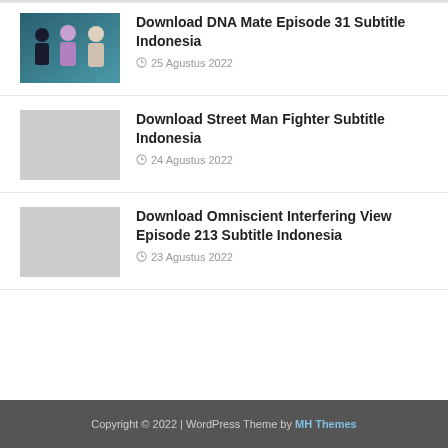[Figure (photo): Photo thumbnail showing three people (DNA Mate cast) against a teal/blue background]
Download DNA Mate Episode 31 Subtitle Indonesia
25 Agustus 2022
[Figure (photo): Placeholder thumbnail for Street Man Fighter article (gray/white)]
Download Street Man Fighter Subtitle Indonesia
24 Agustus 2022
[Figure (photo): Placeholder thumbnail for Omniscient Interfering View article (gray/white)]
Download Omniscient Interfering View Episode 213 Subtitle Indonesia
23 Agustus 2022
Copyright © 2022 | WordPress Theme by MH Themes